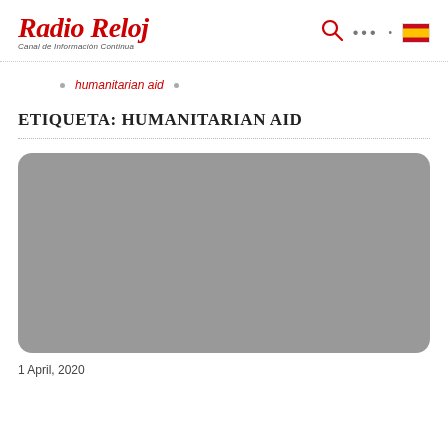Radio Reloj — Canal de Información Continua
humanitarian aid
ETIQUETA: HUMANITARIAN AID
[Figure (photo): Gray placeholder image for an article thumbnail, rounded corners]
1 April, 2020